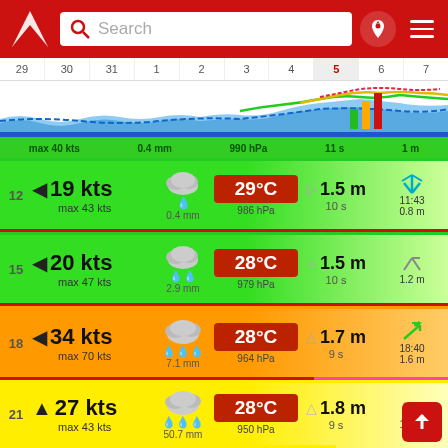[Figure (screenshot): Weather app header with red background, logo, search bar, pin icon, and menu icon]
[Figure (infographic): Calendar strip showing days 29, 30, 31, 1, 2, 3, 4, 5 (highlighted), 6, 7 with weather chart showing wind, precipitation, pressure, wave period, and wave height summary values: max 40 kts, 0.4 mm, 990 hPa, 11 s, 1 m]
| Time | Wind | Precip | Temp/Pressure | Wave | Tide |
| --- | --- | --- | --- | --- | --- |
| 12 | 19 kts / max 43 kts | 0.4 mm | 29°C / 986 hPa | 1.5 m / 10 s | 11:43 / 0.8 m |
| 15 | 20 kts / max 47 kts | 2.9 mm | 28°C / 979 hPa | 1.5 m / 10 s | 1.2 m |
| 18 | 34 kts / max 70 kts | 7.1 mm | 28°C / 964 hPa | 1.7 m / 9 s | 18:40 / 1.6 m |
| 21 | 27 kts / max 43 kts | 50.7 mm | 28°C / 950 hPa | 1.8 m / 9 s | 1.4 m |